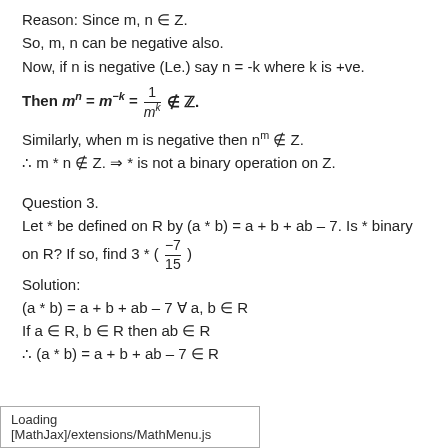Reason: Since m, n ∈ Z.
So, m, n can be negative also.
Now, if n is negative (Le.) say n = -k where k is +ve.
Similarly, when m is negative then n^m ∉ Z.
∴ m * n ∉ Z. ⇒ * is not a binary operation on Z.
Question 3.
Let * be defined on R by (a * b) = a + b + ab – 7. Is * binary on R? If so, find 3 * (−7/15)
Solution:
(a * b) = a + b + ab – 7 ∀ a, b ∈ R
If a ∈ R, b ∈ R then ab ∈ R
∴ (a * b) = a + b + ab – 7 ∈ R
Loading [MathJax]/extensions/MathMenu.js